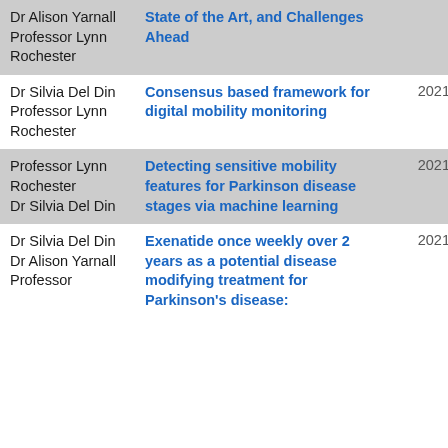| Authors | Title | Year | OA |
| --- | --- | --- | --- |
| Dr Alison Yarnall
Professor Lynn Rochester | State of the Art, and Challenges Ahead |  |  |
| Dr Silvia Del Din
Professor Lynn Rochester | Consensus based framework for digital mobility monitoring | 2021 | OA |
| Professor Lynn Rochester
Dr Silvia Del Din | Detecting sensitive mobility features for Parkinson disease stages via machine learning | 2021 |  |
| Dr Silvia Del Din
Dr Alison Yarnall
Professor | Exenatide once weekly over 2 years as a potential disease modifying treatment for Parkinson's disease: | 2021 | OA |